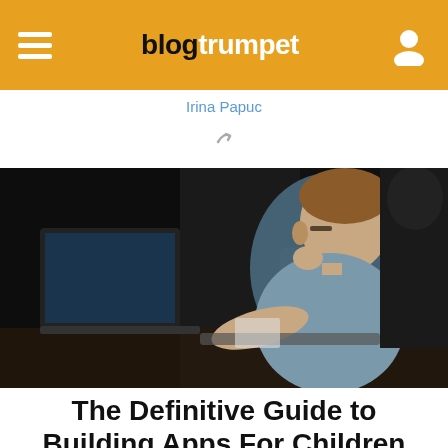blogtrumpet
Irina Papuc
[Figure (photo): Person sitting at a desk working intently on a laptop computer in a dark environment, viewed from the side profile, wearing a grey t-shirt, with glasses and other items on the table.]
The Definitive Guide to Building Apps For Children